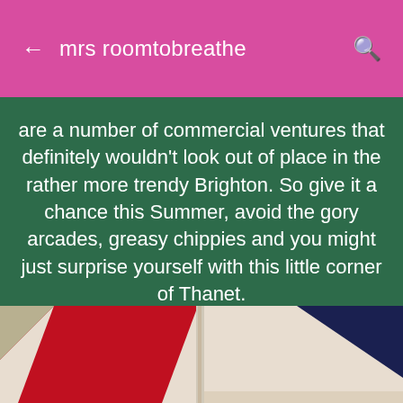mrs roomtobreathe
are a number of commercial ventures that definitely wouldn't look out of place in the rather more trendy Brighton. So give it a chance this Summer, avoid the gory arcades, greasy chippies and you might just surprise yourself with this little corner of Thanet.
[Figure (photo): Photo showing geometric shapes or panels with red, beige/cream, and dark navy blue colors, possibly fabric or design samples displayed on a rack or stand with a metallic divider visible in the center.]